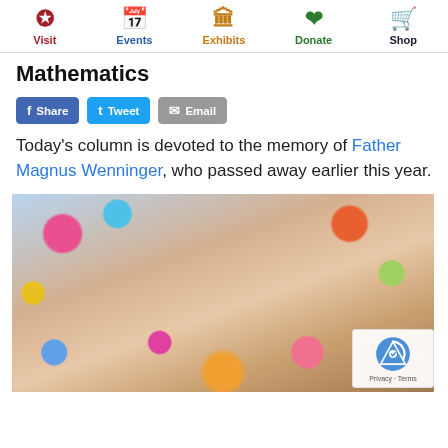Visit | Events | Exhibits | Donate | Shop
Mathematics
Share | Tweet | Email
Today's column is devoted to the memory of Father Magnus Wenninger, who passed away earlier this year.
[Figure (photo): Elderly man smiling, surrounded by colorful paper polyhedral models in an office setting]